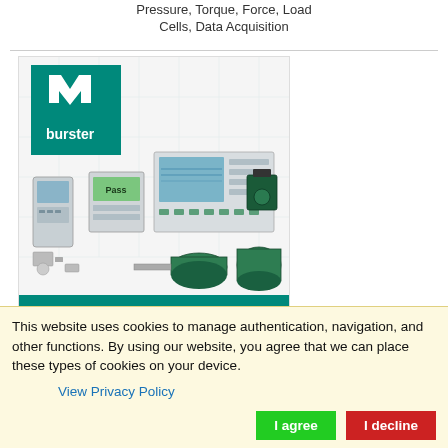Sensors and Transmitters for Pressure, Torque, Force, Load Cells, Data Acquisition
[Figure (photo): Burster brand advertisement showing measurement instruments including handheld device, display units, data acquisition hardware, torque sensors, load cells, and the text 'THE MEASUREMENT SOLUTION.' on a teal/green banner. The burster logo (teal square with white M notch and white 'burster' text) is in the upper left.]
This website uses cookies to manage authentication, navigation, and other functions. By using our website, you agree that we can place these types of cookies on your device.
View Privacy Policy
I agree
I decline